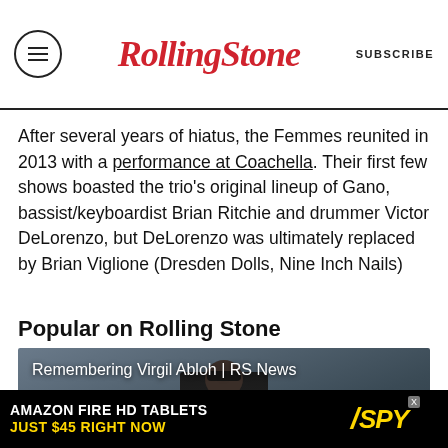Rolling Stone | SUBSCRIBE
After several years of hiatus, the Femmes reunited in 2013 with a performance at Coachella. Their first few shows boasted the trio's original lineup of Gano, bassist/keyboardist Brian Ritchie and drummer Victor DeLorenzo, but DeLorenzo was ultimately replaced by Brian Viglione (Dresden Dolls, Nine Inch Nails)
Popular on Rolling Stone
[Figure (photo): Video thumbnail showing a man in a dark suit with text 'Remembering Virgil Abloh | RS News' overlaid, with a play button in the center]
[Figure (infographic): Advertisement banner: AMAZON FIRE HD TABLETS JUST $45 RIGHT NOW with SPY logo]